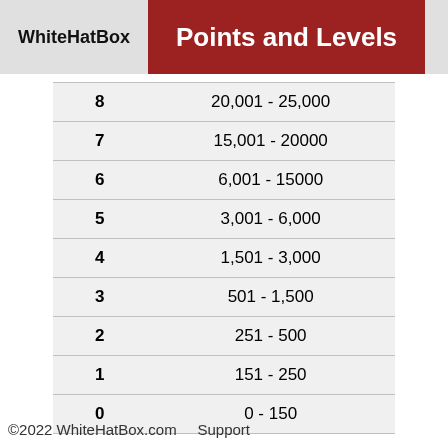WhiteHatBox — Points and Levels
| Level | Points Range |
| --- | --- |
| 8 | 20,001 - 25,000 |
| 7 | 15,001 - 20000 |
| 6 | 6,001 - 15000 |
| 5 | 3,001 - 6,000 |
| 4 | 1,501 - 3,000 |
| 3 | 501 - 1,500 |
| 2 | 251 - 500 |
| 1 | 151 - 250 |
| 0 | 0 - 150 |
©2022 WhiteHatBox.com    Support